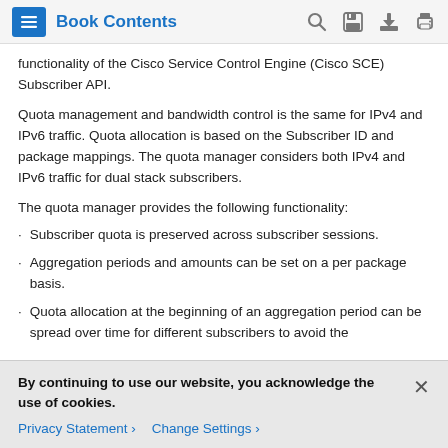Book Contents
functionality of the Cisco Service Control Engine (Cisco SCE) Subscriber API.
Quota management and bandwidth control is the same for IPv4 and IPv6 traffic. Quota allocation is based on the Subscriber ID and package mappings. The quota manager considers both IPv4 and IPv6 traffic for dual stack subscribers.
The quota manager provides the following functionality:
Subscriber quota is preserved across subscriber sessions.
Aggregation periods and amounts can be set on a per package basis.
Quota allocation at the beginning of an aggregation period can be spread over time for different subscribers to avoid the
By continuing to use our website, you acknowledge the use of cookies.
Privacy Statement  Change Settings